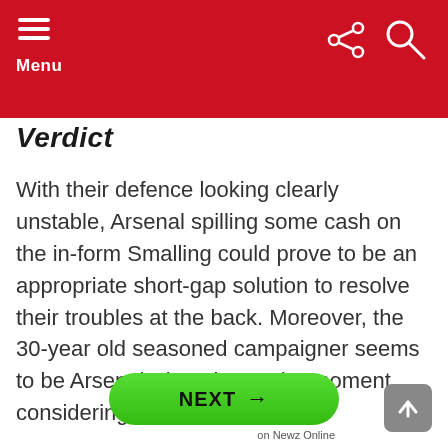Menu
Verdict
With their defence looking clearly unstable, Arsenal spilling some cash on the in-form Smalling could prove to be an appropriate short-gap solution to resolve their troubles at the back. Moreover, the 30-year old seasoned campaigner seems to be Arsenal's best bet at the moment considering his market value.
NEXT → on Newz Online